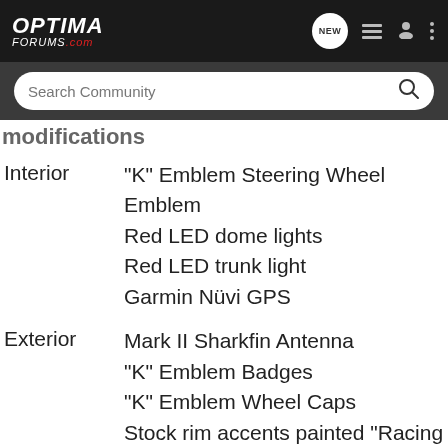[Figure (screenshot): Optima Forums navigation bar with logo, NEW chat bubble, list icon, user icon, and more options icon]
[Figure (screenshot): Search Community search bar with magnifying glass icon]
modifications
Interior — "K" Emblem Steering Wheel Emblem, Red LED dome lights, Red LED trunk light, Garmin Nüvi GPS
Exterior — Mark II Sharkfin Antenna, "K" Emblem Badges, "K" Emblem Wheel Caps, Stock rim accents painted "Racing Red", Racing Red Painted Brake Calipers, Red Pinstripe on lower grille, ArtX Grille, LED strips under both head lights, Ultrawhite LED license plate lights